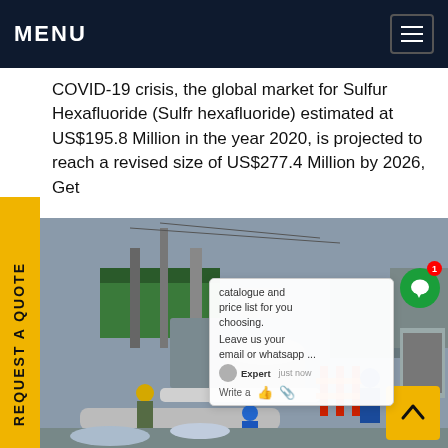MENU
COVID-19 crisis, the global market for Sulfur Hexafluoride (Sulfr hexafluoride) estimated at US$195.8 Million in the year 2020, is projected to reach a revised size of US$277.4 Million by 2026, Get catalogue and price list for you choosing. Leave us your email or whatsapp…
[Figure (photo): Industrial electrical equipment / high-voltage substation with workers in blue hard hats and protective gear working on large gray machinery and pipes outdoors]
REQUEST A QUOTE